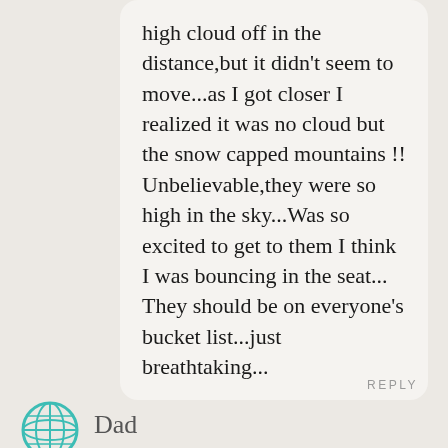high cloud off in the distance,but it didn't seem to move...as I got closer I realized it was no cloud but the snow capped mountains !! Unbelievable,they were so high in the sky...Was so excited to get to them I think I was bouncing in the seat... They should be on everyone's bucket list...just breathtaking...
REPLY
Dad